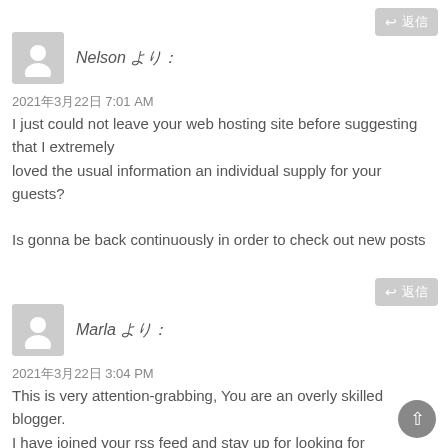返信
Nelson より：
2021年3月22日 7:01 AM
I just could not leave your web hosting site before suggesting that I extremely loved the usual information an individual supply for your guests?

Is gonna be back continuously in order to check out new posts
返信
Marla より：
2021年3月22日 3:04 PM
This is very attention-grabbing, You are an overly skilled blogger.
I have joined your rss feed and stay up for looking for